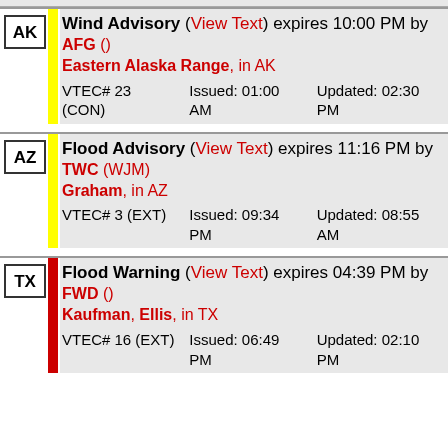| State | Bar | Alert Info |
| --- | --- | --- |
| AK | yellow | Wind Advisory (View Text) expires 10:00 PM by AFG () Eastern Alaska Range, in AK VTEC# 23 (CON) Issued: 01:00 AM Updated: 02:30 PM |
| AZ | yellow | Flood Advisory (View Text) expires 11:16 PM by TWC (WJM) Graham, in AZ VTEC# 3 (EXT) Issued: 09:34 PM Updated: 08:55 AM |
| TX | red | Flood Warning (View Text) expires 04:39 PM by FWD () Kaufman, Ellis, in TX VTEC# 16 (EXT) Issued: 06:49 PM Updated: 02:10 PM |